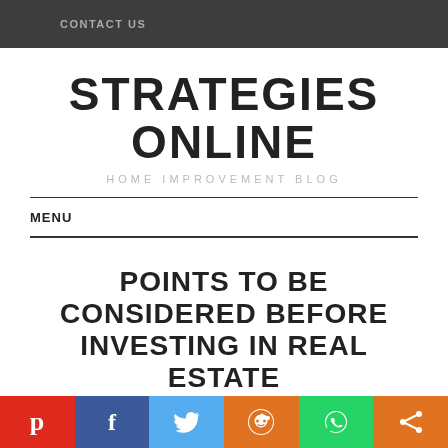CONTACT US
STRATEGIES ONLINE
HOME IMPROVEMENT BLOG
MENU
POINTS TO BE CONSIDERED BEFORE INVESTING IN REAL ESTATE
DECEMBER 25, 2014  /  ERIN EMANUEL